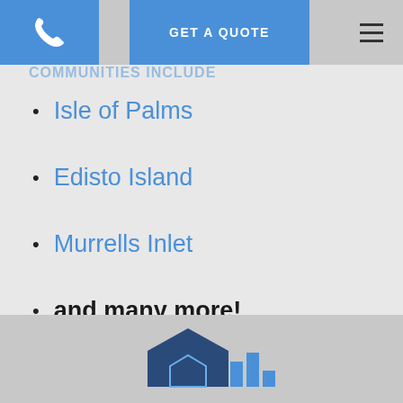GET A QUOTE
Isle of Palms
Edisto Island
Murrells Inlet
and many more!
CONTACT US TODAY
[Figure (logo): House/home insurance company logo at bottom of page, dark blue geometric house shape with blue bar chart element]